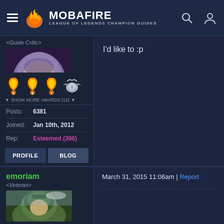MOBAFIRE — LEAGUE OF LEGENDS CHAMPION GUIDES
<Guide Critic>
[Figure (illustration): Champion avatar — purple-hooded female champion with red eyes and open mouth (dark fantasy art style)]
[Figure (illustration): Three orange flame badges numbered 5, 6, 7 and one silver winged badge]
▼ SHOW MORE AWARDS (12) ▼
Posts: 6381
Joined: Jan 10th, 2012
Rep: Esteemed (386)
PROFILE  BLOG
I'd like to :p
emoriam
<Veteran>
March 31, 2015 11:06am | Report
[Figure (illustration): Champion avatar — green-helmeted character, partially visible]